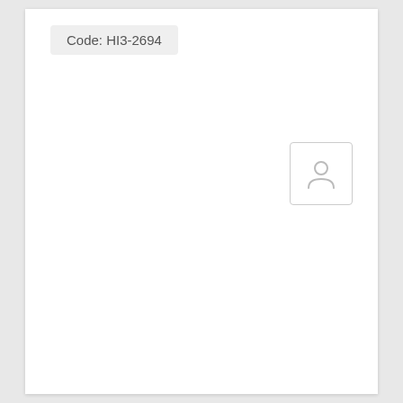Code: HI3-2694
[Figure (other): A small icon depicting a person/user silhouette inside a rounded square border, rendered in light gray.]